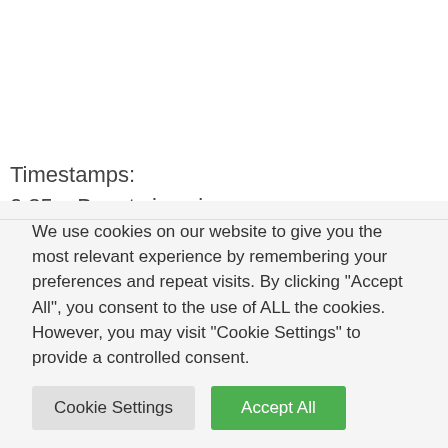Timestamps:
0:35 – Beauty is pain
2:15 – Long nails struggles
4:23 – Cool beauty tricks
We use cookies on our website to give you the most relevant experience by remembering your preferences and repeat visits. By clicking "Accept All", you consent to the use of ALL the cookies. However, you may visit "Cookie Settings" to provide a controlled consent.